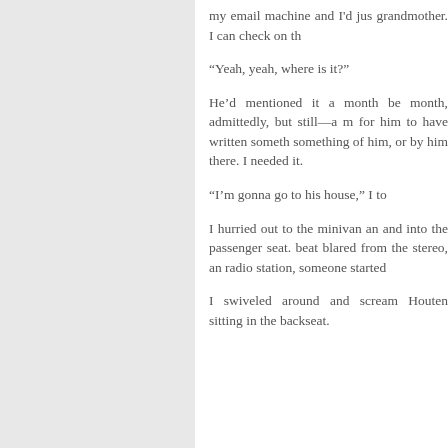my email machine and I'd just grandmother. I can check on th
“Yeah, yeah, where is it?”
He’d mentioned it a month be month, admittedly, but still—a m for him to have written someth something of him, or by him there. I needed it.
“I’m gonna go to his house,” I to
I hurried out to the minivan an and into the passenger seat. beat blared from the stereo, an radio station, someone started
I swiveled around and scream Houten sitting in the backseat.